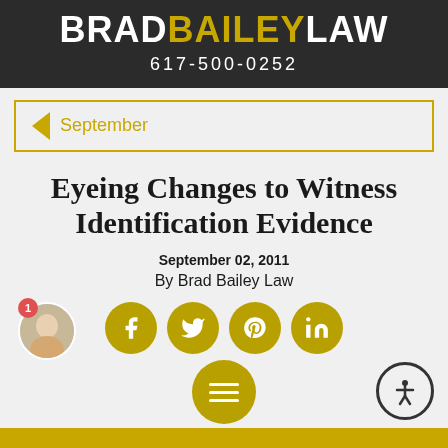BRAD BAILEY LAW
617-500-0252
< September
Eyeing Changes to Witness Identification Evidence
September 02, 2011
By Brad Bailey Law
[Figure (logo): Social media share buttons: Facebook, Twitter, Pinterest, LinkedIn]
[Figure (photo): Profile photo of a woman with a red badge showing number 1]
[Figure (infographic): Circular menu button with three horizontal lines and accessibility icon]